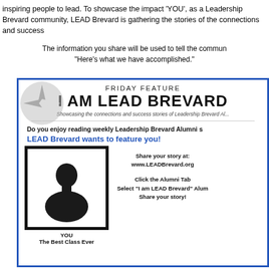inspiring people to lead.  To showcase the impact 'YOU', as a Leadership Brevard community, LEAD Brevard is gathering the stories of the connections and success
The information you share will be used to tell the community "Here's what we have accomplished."
[Figure (infographic): LEAD Brevard Friday Feature flyer. Shows 'FRIDAY FEATURE' heading, 'I AM LEAD BREVARD' title, gray compass/circle logo, tagline 'Showcasing the connections and success stories of Leadership Brevard Alumni', bold text asking if user enjoys weekly Alumni stories, blue bold text 'LEAD Brevard wants to feature you!', silhouette photo placeholder labeled 'YOU / The Best Class Ever', and instructions to share story at www.LEADBrevard.org, click Alumni Tab, select 'I am LEAD Brevard' Alumni, and share your story.]